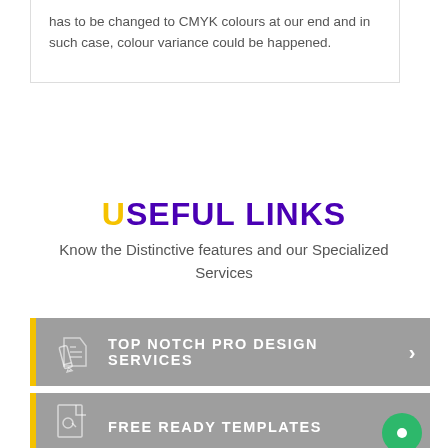has to be changed to CMYK colours at our end and in such case, colour variance could be happened.
USEFUL LINKS
Know the Distinctive features and our Specialized Services
TOP NOTCH PRO DESIGN SERVICES
FREE READY TEMPLATES